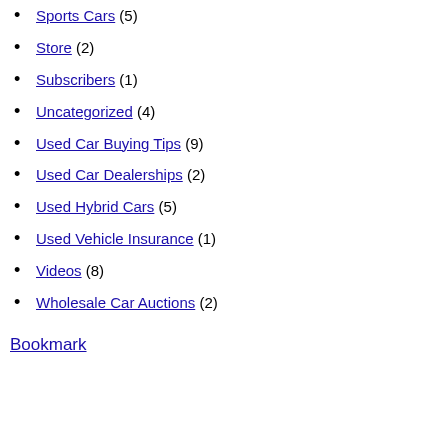Sports Cars (5)
Store (2)
Subscribers (1)
Uncategorized (4)
Used Car Buying Tips (9)
Used Car Dealerships (2)
Used Hybrid Cars (5)
Used Vehicle Insurance (1)
Videos (8)
Wholesale Car Auctions (2)
Bookmark